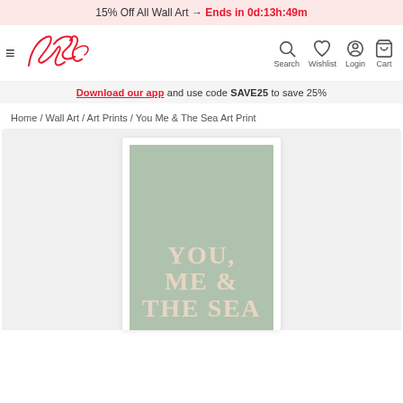15% Off All Wall Art → Ends in 0d:13h:49m
[Figure (logo): Kyt brand logo in red script with hamburger menu icon]
Download our app and use code SAVE25 to save 25%
Home / Wall Art / Art Prints / You Me & The Sea Art Print
[Figure (photo): Product image of 'You Me & The Sea' art print with sage green background and text YOU, ME & THE SEA in beige/cream bold letters]